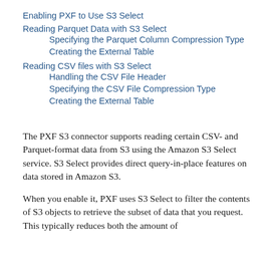Enabling PXF to Use S3 Select
Reading Parquet Data with S3 Select
Specifying the Parquet Column Compression Type
Creating the External Table
Reading CSV files with S3 Select
Handling the CSV File Header
Specifying the CSV File Compression Type
Creating the External Table
The PXF S3 connector supports reading certain CSV- and Parquet-format data from S3 using the Amazon S3 Select service. S3 Select provides direct query-in-place features on data stored in Amazon S3.
When you enable it, PXF uses S3 Select to filter the contents of S3 objects to retrieve the subset of data that you request. This typically reduces both the amount of